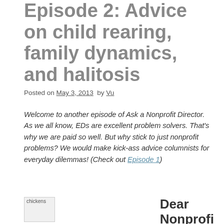Episode 2: Advice on child rearing, family dynamics, and halitosis
Posted on May 3, 2013  by Vu
Welcome to another episode of Ask a Nonprofit Director. As we all know, EDs are excellent problem solvers. That's why we are paid so well. But why stick to just nonprofit problems? We would make kick-ass advice columnists for everyday dilemmas! (Check out Episode 1)
[Figure (photo): Image placeholder labeled 'chickens']
Dear Nonprofi